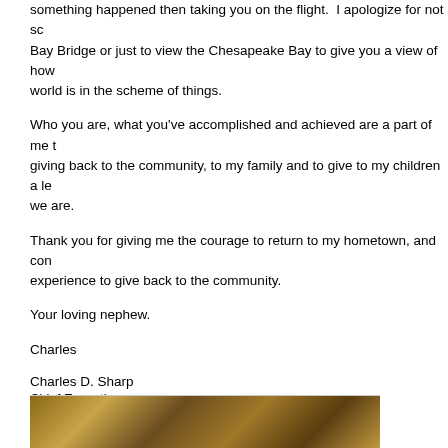something happened then taking you on the flight. I apologize for not sc Bay Bridge or just to view the Chesapeake Bay to give you a view of how world is in the scheme of things.
Who you are, what you've accomplished and achieved are a part of me t giving back to the community, to my family and to give to my children a le we are.
Thank you for giving me the courage to return to my hometown, and con experience to give back to the community.
Your loving nephew.
Charles
Charles D. Sharp
Chief Executive
Black Emergency Managers Association
[Figure (logo): bEMA logo with stylized blue italic 'b' followed by 'EMA' in bold uppercase black letters]
"I Care...."
[Figure (photo): A photo strip at the bottom of the page showing people or a group scene in warm brown tones]